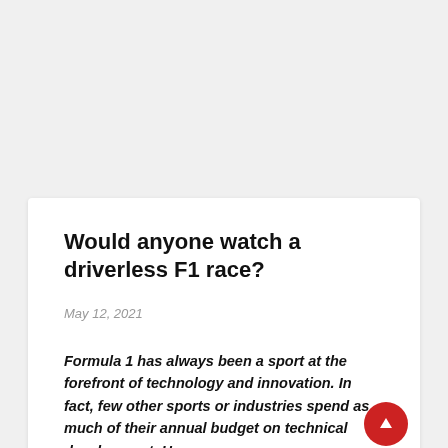Would anyone watch a driverless F1 race?
May 12, 2021
Formula 1 has always been a sport at the forefront of technology and innovation. In fact, few other sports or industries spend as much of their annual budget on technical development. However, new